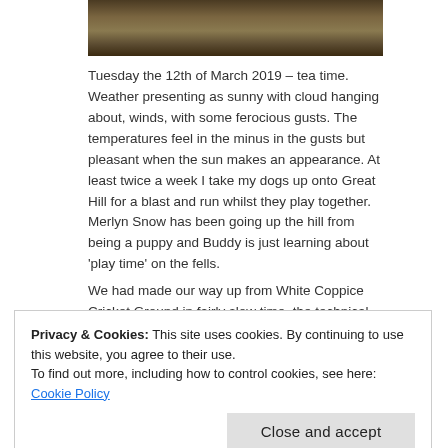[Figure (photo): Partial photo showing legs/feet of a person running on a field, bottom portion of image visible]
Tuesday the 12th of March 2019 – tea time. Weather presenting as sunny with cloud hanging about, winds, with some ferocious gusts. The temperatures feel in the minus in the gusts but pleasant when the sun makes an appearance. At least twice a week I take my dogs up onto Great Hill for a blast and run whilst they play together. Merlyn Snow has been going up the hill from being a puppy and Buddy is just learning about 'play time' on the fells.
We had made our way up from White Coppice Cricket Ground in fairly slow time, the technical climb should not be rushed especially on cold legs.
Privacy & Cookies: This site uses cookies. By continuing to use this website, you agree to their use.
To find out more, including how to control cookies, see here: Cookie Policy
Close and accept
A good half an hour up then down usually gives us